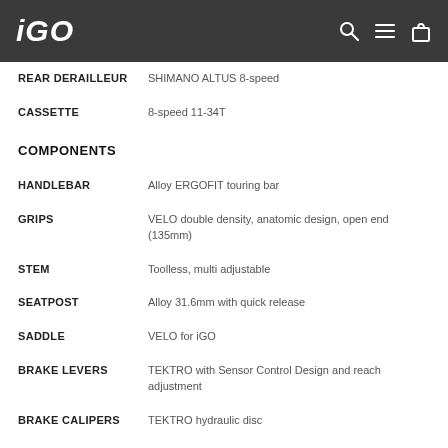iGO
| Specification | Value |
| --- | --- |
| REAR DERAILLEUR | SHIMANO ALTUS 8-speed |
| CASSETTE | 8-speed 11-34T |
| COMPONENTS |  |
| HANDLEBAR | Alloy ERGOFIT touring bar |
| GRIPS | VELO double density, anatomic design, open end (135mm) |
| STEM | Toolless, multi adjustable |
| SEATPOST | Alloy 31.6mm with quick release |
| SADDLE | VELO for iGO |
| BRAKE LEVERS | TEKTRO with Sensor Control Design and reach adjustment |
| BRAKE CALIPERS | TEKTRO hydraulic disc |
| ROTORS | 180mm |